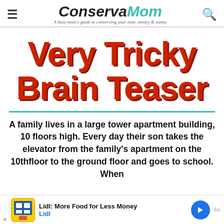ConservaMom — A busy mom's guide to conserving your time, money & sanity
Very Tricky Brain Teaser
A family lives in a large tower apartment building, 10 floors high. Every day their son takes the elevator from the family's apartment on the 10thfloor to the ground floor and goes to school. When he comes home...